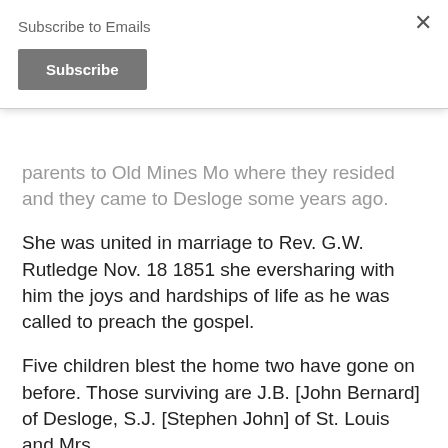Subscribe to Emails
parents to Old Mines Mo where they resided and they came to Desloge some years ago.
She was united in marriage to Rev. G.W. Rutledge Nov. 18 1851 she eversharing with him the joys and hardships of life as he was called to preach the gospel.
Five children blest the home two have gone on before. Those surviving are J.B. [John Bernard] of Desloge, S.J. [Stephen John] of St. Louis and Mrs.